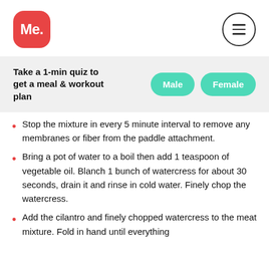[Figure (logo): Red rounded square logo with white text 'Me.' and hamburger menu icon in circle on the right]
Take a 1-min quiz to get a meal & workout plan
Male   Female
Stop the mixture in every 5 minute interval to remove any membranes or fiber from the paddle attachment.
Bring a pot of water to a boil then add 1 teaspoon of vegetable oil. Blanch 1 bunch of watercress for about 30 seconds, drain it and rinse in cold water. Finely chop the watercress.
Add the cilantro and finely chopped watercress to the meat mixture. Fold in hand until everything